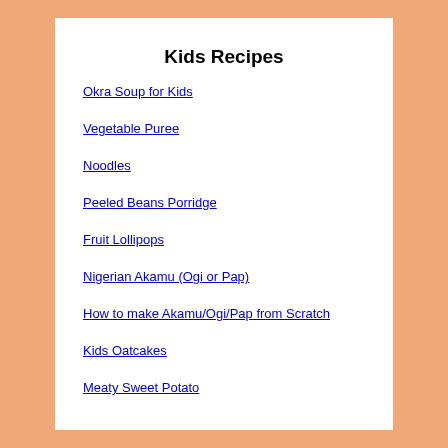Kids Recipes
Okra Soup for Kids
Vegetable Puree
Noodles
Peeled Beans Porridge
Fruit Lollipops
Nigerian Akamu (Ogi or Pap)
How to make Akamu/Ogi/Pap from Scratch
Kids Oatcakes
Meaty Sweet Potato